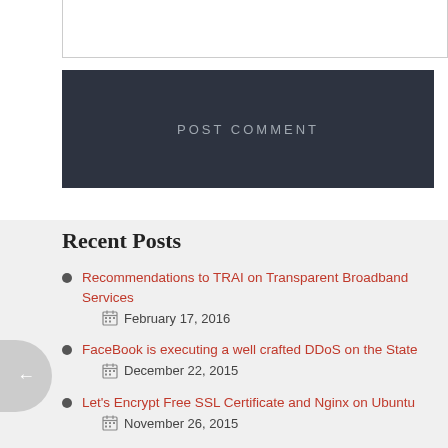[Figure (other): POST COMMENT button — dark navy rectangle with spaced uppercase text]
Recent Posts
Recommendations to TRAI on Transparent Broadband Services
February 17, 2016
FaceBook is executing a well crafted DDoS on the State
December 22, 2015
Let's Encrypt Free SSL Certificate and Nginx on Ubuntu
November 26, 2015
Install Node.js 5.0 Stable on Ubuntu 14.04 LTS